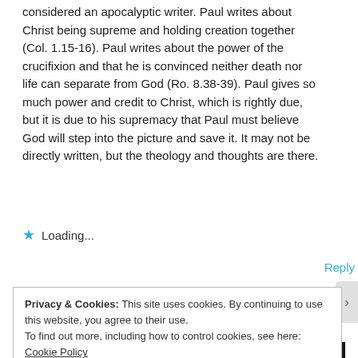considered an apocalyptic writer. Paul writes about Christ being supreme and holding creation together (Col. 1.15-16). Paul writes about the power of the crucifixion and that he is convinced neither death nor life can separate from God (Ro. 8.38-39). Paul gives so much power and credit to Christ, which is rightly due, but it is due to his supremacy that Paul must believe God will step into the picture and save it. It may not be directly written, but the theology and thoughts are there.
Loading...
Reply
Privacy & Cookies: This site uses cookies. By continuing to use this website, you agree to their use.
To find out more, including how to control cookies, see here: Cookie Policy
Close and accept
Advertisements
[Figure (infographic): Seamless food delivery advertisement banner showing pizza image on left, Seamless logo in red center, and ORDER NOW button on right against dark background]